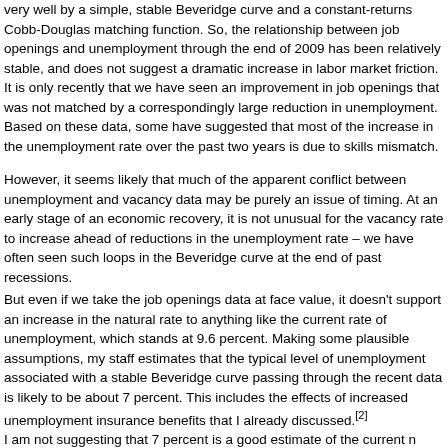very well by a simple, stable Beveridge curve and a constant-returns Cobb-Douglas matching function. So, the relationship between job openings and unemployment through the end of 2009 has been relatively stable, and does not suggest a dramatic increase in labor market friction. It is only recently that we have seen an improvement in job openings that was not matched by a correspondingly large reduction in unemployment. Based on these data, some have suggested that most of the increase in the unemployment rate over the past two years is due to skills mismatch.
However, it seems likely that much of the apparent conflict between unemployment and vacancy data may be purely an issue of timing. At an early stage of an economic recovery, it is not unusual for the vacancy rate to increase ahead of reductions in the unemployment rate – we have often seen such loops in the Beveridge curve at the end of past recessions.
But even if we take the job openings data at face value, it doesn't support an increase in the natural rate to anything like the current rate of unemployment, which stands at 9.6 percent. Making some plausible assumptions, my staff estimates that the typical level of unemployment associated with a stable Beveridge curve passing through the recent data is likely to be about 7 percent. This includes the effects of increased unemployment insurance benefits that I already discussed.[2]
I am not suggesting that 7 percent is a good estimate of the current n